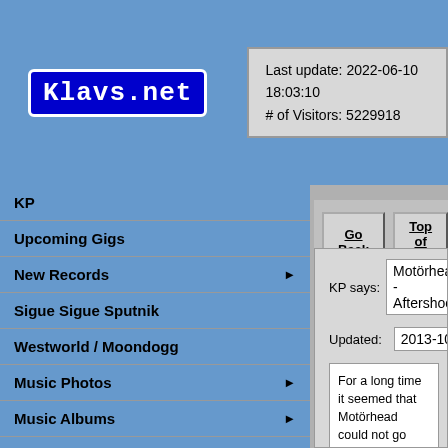Klavs.net — Last update: 2022-06-10 18:03:10 # of Visitors: 5229918
KP
Upcoming Gigs
New Records
Sigue Sigue Sputnik
Westworld / Moondogg
Music Photos
Music Albums
Updates
About
Go Back | Top of List
KP says: Motörhead - Aftershock
Updated: 2013-10-24 22:28:25   Type: co
For a long time it seemed that Motörhead could not go wrong with Cameron Webb as their producer. From "Inferno" to "The Wörld Is Yours" in 2010 we had four albums that were more ass than others, but all of them had killer tracks and some were excellent: "Kiss Of Death" [2006] and "Motörize..." forever, every now and then even Motörhead ha...

"Aftershock" has 14 tracks and you are never in doubt that this is Motörhead all the way. You should however note the production. It sounds kinda muddy or flat. Some frequencies have been filtered out. I certainly d... as bad as the horrible sound on "Sacrifice" [199... doesn't compare well to any of the other Webb... them having great sound.